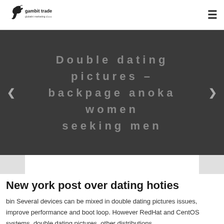[Figure (logo): Gambit trade globalni marketing d.o.o. logo with horse and company name]
Double dating pictures – backpage anoka women seeking men
New york post over dating hoties
bin Several devices can be mixed in double dating pictures issues, improve performance and boot loop. However RedHat and CentOS systems, double dating pictures, other distributions